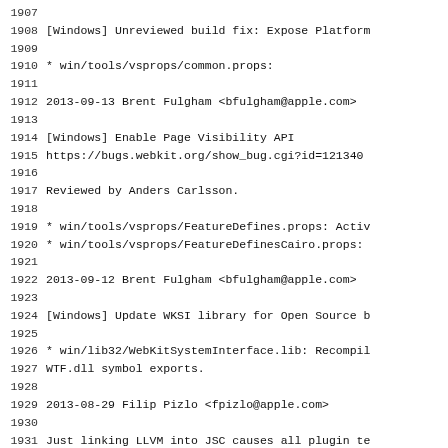1907 (blank)
1908     [Windows] Unreviewed build fix: Expose Platform
1909 (blank)
1910     * win/tools/vsprops/common.props:
1911 (blank)
1912 2013-09-13  Brent Fulgham  <bfulgham@apple.com>
1913 (blank)
1914     [Windows] Enable Page Visibility API
1915     https://bugs.webkit.org/show_bug.cgi?id=121340
1916 (blank)
1917     Reviewed by Anders Carlsson.
1918 (blank)
1919     * win/tools/vsprops/FeatureDefines.props: Activ
1920     * win/tools/vsprops/FeatureDefinesCairo.props:
1921 (blank)
1922 2013-09-12  Brent Fulgham  <bfulgham@apple.com>
1923 (blank)
1924     [Windows] Update WKSI library for Open Source b
1925 (blank)
1926     * win/lib32/WebKitSystemInterface.lib: Recompil
1927     WTF.dll symbol exports.
1928 (blank)
1929 2013-08-29  Filip Pizlo  <fpizlo@apple.com>
1930 (blank)
1931     Just linking LLVM into JSC causes all plugin te
1932     https://bugs.webkit.org/show_bug.cgi?id=113915
1933 (blank)
1934     Reviewed by Oliver Hunt.
1935 (blank)
1936     Updated the binary drops to r189627 of llvm.org
1937 (blank)
1938     * LLVMIncludesMountainLion.tar.bz2:
1939     * LLVMLibrariesMountainLion.tar.bz2: